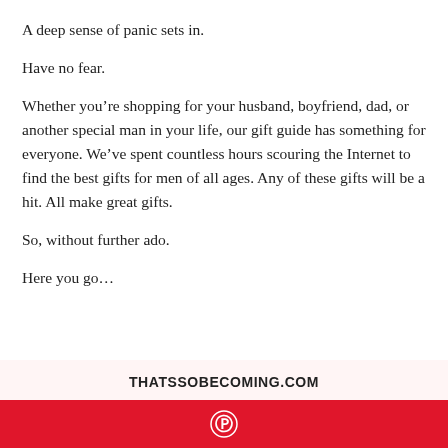A deep sense of panic sets in.
Have no fear.
Whether you’re shopping for your husband, boyfriend, dad, or another special man in your life, our gift guide has something for everyone. We’ve spent countless hours scouring the Internet to find the best gifts for men of all ages. Any of these gifts will be a hit. All make great gifts.
So, without further ado.
Here you go…
THATSSOBECOMING.COM